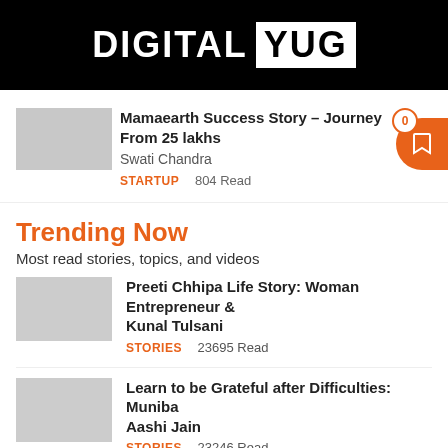DIGITAL YUG
Mamaearth Success Story – Journey From 25 lakhs
Swati Chandra
STARTUP   804 Read
Trending Now
Most read stories, topics, and videos
Preeti Chhipa Life Story: Woman Entrepreneur &
Kunal Tulsani
STORIES   23695 Read
Learn to be Grateful after Difficulties: Muniba
Aashi Jain
STORIES   23246 Read